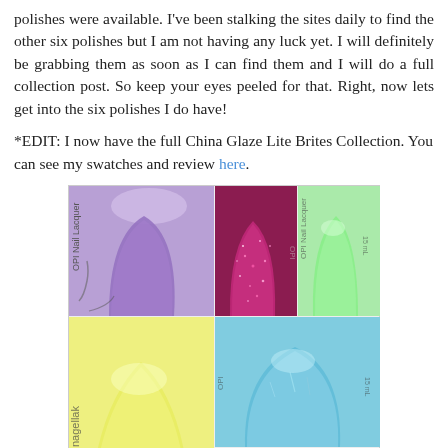polishes were available. I've been stalking the sites daily to find the other six polishes but I am not having any luck yet. I will definitely be grabbing them as soon as I can find them and I will do a full collection post. So keep your eyes peeled for that. Right, now lets get into the six polishes I do have!
*EDIT: I now have the full China Glaze Lite Brites Collection. You can see my swatches and review here.
[Figure (photo): A collage of six nail polish swatches from the China Glaze Lite Brites Collection arranged in a grid: top row shows purple, glittery dark magenta/berry, and mint green nails; bottom left shows a large yellow-green nail; bottom middle-right shows turquoise/blue shimmer nail; bottom right shows light lavender nail.]